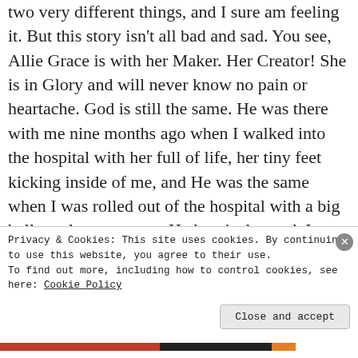two very different things, and I sure am feeling it. But this story isn't all bad and sad. You see, Allie Grace is with her Maker. Her Creator! She is in Glory and will never know no pain or heartache. God is still the same. He was there with me nine months ago when I walked into the hospital with her full of life, her tiny feet kicking inside of me, and He was the same when I was rolled out of the hospital with a big belly and empty arms. He hasn't changed. I have. As much as I'd like to be the author of this story, I'm not. God is. He wrote this story long before I was ever born, and He has blessed me and chosen me to
Privacy & Cookies: This site uses cookies. By continuing to use this website, you agree to their use.
To find out more, including how to control cookies, see here: Cookie Policy
Close and accept